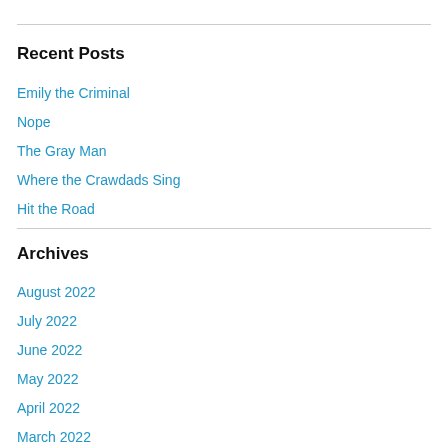Recent Posts
Emily the Criminal
Nope
The Gray Man
Where the Crawdads Sing
Hit the Road
Archives
August 2022
July 2022
June 2022
May 2022
April 2022
March 2022
February 2022
January 2022